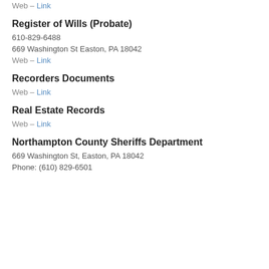Web – Link
Register of Wills (Probate)
610-829-6488
669 Washington St Easton, PA 18042
Web – Link
Recorders Documents
Web – Link
Real Estate Records
Web – Link
Northampton County Sheriffs Department
669 Washington St, Easton, PA 18042
Phone: (610) 829-6501